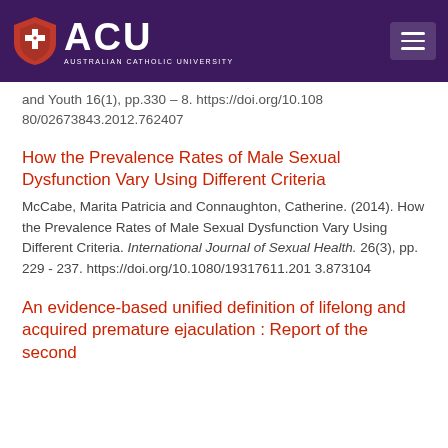ACU — Australian Catholic University
and Youth 16(1), pp.330 - 8. https://doi.org/10.1080/02673843.2012.762407
How the Prevalence Rates of Male Sexual Dysfunction Vary Using Different Criteria
McCabe, Marita Patricia and Connaughton, Catherine. (2014). How the Prevalence Rates of Male Sexual Dysfunction Vary Using Different Criteria. International Journal of Sexual Health. 26(3), pp. 229 - 237. https://doi.org/10.1080/19317611.2013.873104
An evidence-based unified definition of lifelong and acquired premature ejaculation : Report of the second